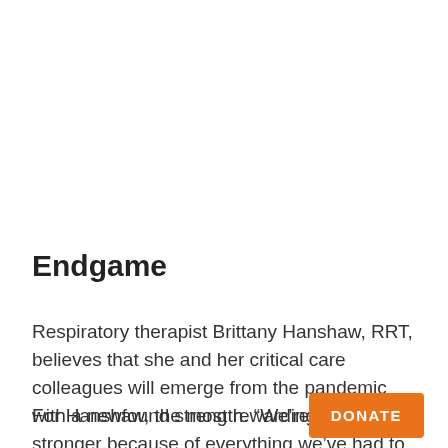Endgame
Respiratory therapist Brittany Hanshaw, RRT, believes that she and her critical care colleagues will emerge from the pandemic with a newfound strength. “We’re already stronger because of everything we’ve had to deal with,” she says. “When this is over, COVID will have changed us for the better.”
For Hanshaw, the most rewarding part of